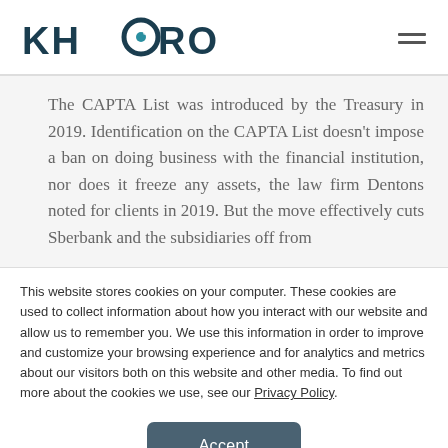KHARON
The CAPTA List was introduced by the Treasury in 2019. Identification on the CAPTA List doesn't impose a ban on doing business with the financial institution, nor does it freeze any assets, the law firm Dentons noted for clients in 2019. But the move effectively cuts Sberbank and the subsidiaries off from
This website stores cookies on your computer. These cookies are used to collect information about how you interact with our website and allow us to remember you. We use this information in order to improve and customize your browsing experience and for analytics and metrics about our visitors both on this website and other media. To find out more about the cookies we use, see our Privacy Policy.
Accept